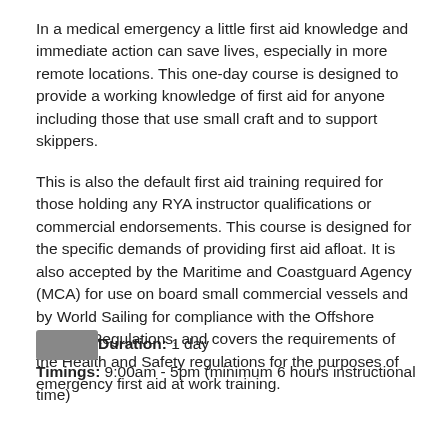In a medical emergency a little first aid knowledge and immediate action can save lives, especially in more remote locations. This one-day course is designed to provide a working knowledge of first aid for anyone including those that use small craft and to support skippers.
This is also the default first aid training required for those holding any RYA instructor qualifications or commercial endorsements. This course is designed for the specific demands of providing first aid afloat. It is also accepted by the Maritime and Coastguard Agency (MCA) for use on board small commercial vessels and by World Sailing for compliance with the Offshore Special Regulations, and covers the requirements of the Health and Safety regulations for the purposes of emergency first aid at work training.
Duration: 1 day
Timings: 9:00am - 5pm (minimum 6 hours instructional time)